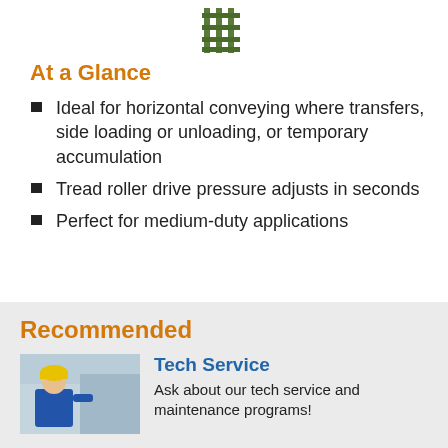[Figure (illustration): Partial product image showing a conveyor component icon at the top of the page]
At a Glance
Ideal for horizontal conveying where transfers, side loading or unloading, or temporary accumulation
Tread roller drive pressure adjusts in seconds
Perfect for medium-duty applications
Recommended
[Figure (photo): Photo of a technician in blue uniform and yellow hard hat working on industrial equipment]
Tech Service
Ask about our tech service and maintenance programs!